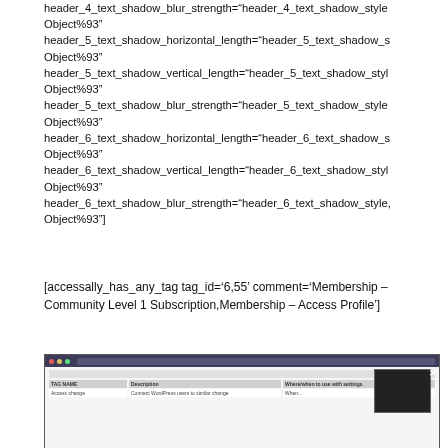header_4_text_shadow_blur_strength="header_4_text_shadow_style Object%93" header_5_text_shadow_horizontal_length="header_5_text_shadow_s Object%93" header_5_text_shadow_vertical_length="header_5_text_shadow_styl Object%93" header_5_text_shadow_blur_strength="header_5_text_shadow_style Object%93" header_6_text_shadow_horizontal_length="header_6_text_shadow_s Object%93" header_6_text_shadow_vertical_length="header_6_text_shadow_styl Object%93" header_6_text_shadow_blur_strength="header_6_text_shadow_style, Object%93"]
[accessally_has_any_tag tag_id='6,55' comment='Membership – Community Level 1 Subscription,Membership – Access Profile']
[Figure (screenshot): Screenshot of a web browser showing a tagging library template spreadsheet with a video overlay in the corner and an X close button.]